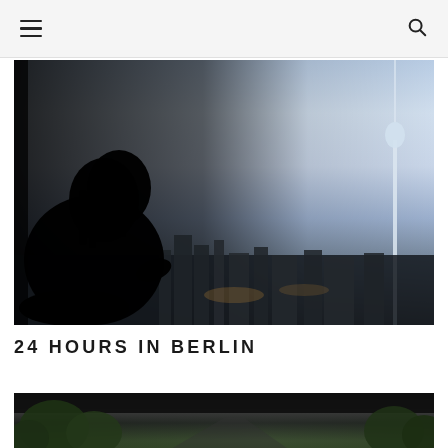Navigation bar with hamburger menu and search icon
[Figure (photo): Silhouette of a person seated by a window overlooking the Berlin cityscape at dusk, with the Berlin TV Tower (Fernsehturm) visible on the right side. The sky is a gradient of blue and pink tones.]
24 HOURS IN BERLIN
[Figure (photo): Partially visible photo of a tree-lined street in Berlin, shot from a low angle, with dark tones and green foliage.]